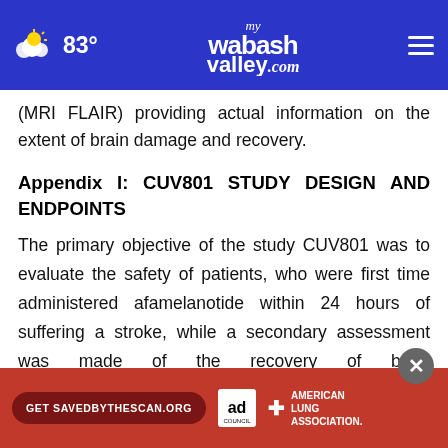83° mywabashvalley.com
(MRI FLAIR) providing actual information on the extent of brain damage and recovery.
Appendix I: CUV801 STUDY DESIGN AND ENDPOINTS
The primary objective of the study CUV801 was to evaluate the safety of patients, who were first time administered afamelanotide within 24 hours of suffering a stroke, while a secondary assessment was made of the recovery of brain tissue... area affected... s and
[Figure (other): Advertisement overlay: red banner with 'Get SAVEDBYTHESCAN.ORG' button, Ad Council logo, and American Lung Association branding, with a close (X) button]